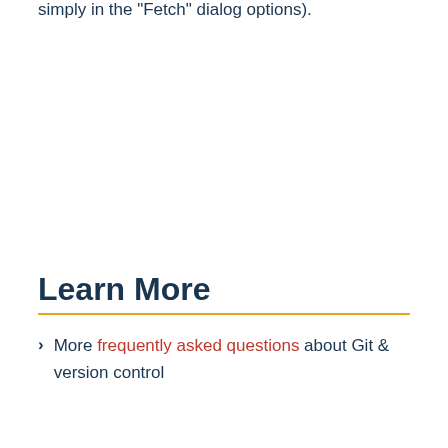simply in the 'Fetch' dialog options).
Learn More
More frequently asked questions about Git & version control